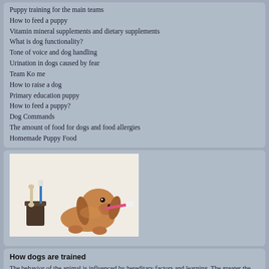Puppy training for the main teams
How to feed a puppy
Vitamin mineral supplements and dietary supplements
What is dog functionality?
Tone of voice and dog handling
Urination in dogs caused by fear
Team Ko me
How to raise a dog
Primary education puppy
How to feed a puppy?
Dog Commands
The amount of food for dogs and food allergies
Homemade Puppy Food
[Figure (photo): A dachshund dog holding a toothbrush in its mouth, sitting next to a cup with bones and a toothbrush, white background]
How dogs are trained
The behavior of the animal is influenced by hereditary factors and learning. The greater the proportion of behavioral reactions that the training component takes, the easier it is to manage...
Continue reading →